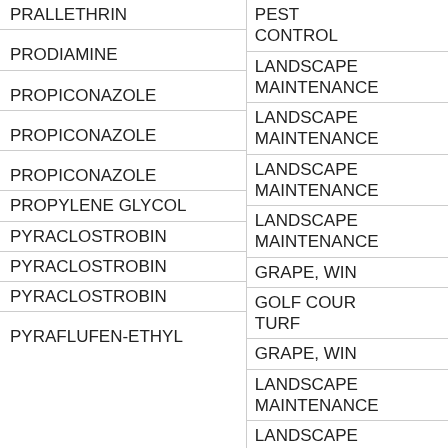| Active Ingredient | Site/Use |
| --- | --- |
| PRALLETHRIN | PEST CONTROL |
| PRODIAMINE | LANDSCAPE MAINTENANCE |
| PROPICONAZOLE | LANDSCAPE MAINTENANCE |
| PROPICONAZOLE | LANDSCAPE MAINTENANCE |
| PROPICONAZOLE | LANDSCAPE MAINTENANCE |
| PROPYLENE GLYCOL | GRAPE, WINE |
| PYRACLOSTROBIN | GOLF COURSE TURF |
| PYRACLOSTROBIN | GRAPE, WINE |
| PYRACLOSTROBIN | LANDSCAPE MAINTENANCE |
| PYRAFLUFEN-ETHYL | LANDSCAPE MAINTENANCE |
|  | STRUCTURE |